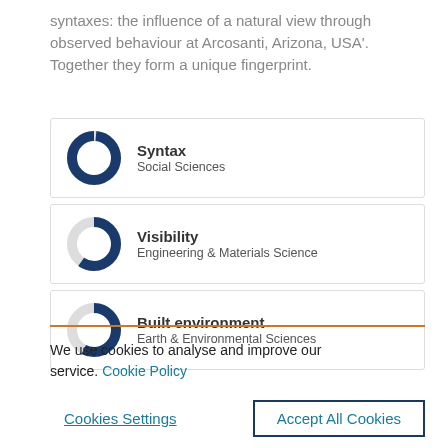syntaxes: the influence of a natural view through observed behaviour at Arcosanti, Arizona, USA'. Together they form a unique fingerprint.
[Figure (donut-chart): Donut chart nearly full (approx 100%) for Syntax, Social Sciences]
[Figure (donut-chart): Donut chart approximately 60% filled for Visibility, Engineering & Materials Science]
[Figure (donut-chart): Donut chart approximately 60% filled for Built environment, Earth & Environmental Sciences]
We use cookies to analyse and improve our service. Cookie Policy
Cookies Settings
Accept All Cookies